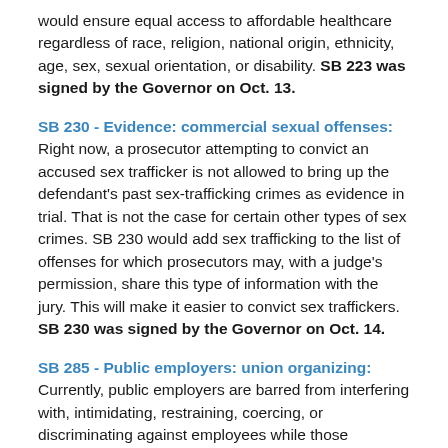would ensure equal access to affordable healthcare regardless of race, religion, national origin, ethnicity, age, sex, sexual orientation, or disability. SB 223 was signed by the Governor on Oct. 13.
SB 230 - Evidence: commercial sexual offenses: Right now, a prosecutor attempting to convict an accused sex trafficker is not allowed to bring up the defendant's past sex-trafficking crimes as evidence in trial. That is not the case for certain other types of sex crimes. SB 230 would add sex trafficking to the list of offenses for which prosecutors may, with a judge's permission, share this type of information with the jury. This will make it easier to convict sex traffickers. SB 230 was signed by the Governor on Oct. 14.
SB 285 - Public employers: union organizing: Currently, public employers are barred from interfering with, intimidating, restraining, coercing, or discriminating against employees while those employees are exercising their right to have union representation. SB 285 strengthens the law by making it clear that not only do public employees have the right to form a union or engage in union activities without interference